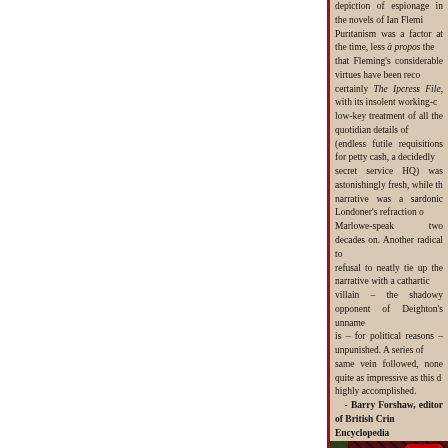depiction of espionage in the novels of Ian Fleming. Puritanism was a factor at the time, less à propos the fact that Fleming's considerable virtues have been recognised – certainly The Ipcress File, with its insolent working-class low-key treatment of all the quotidian details of work (endless futile requisitions for petty cash, a decidedly grim secret service HQ) was astonishingly fresh, while the narrative was a sardonic Londoner's refraction of Marlowe-speak two decades on. Another radical touch: the refusal to neatly tie up the narrative with a cathartic villain – the shadowy opponent of Deighton's unnamed hero is – for political reasons – unpunished. A series of the same vein followed, none quite as impressive as this debut, highly accomplished.
- Barry Forshaw, editor of British Crime Encyclopedia
[Figure (photo): Photograph showing a top-down view of a tea cup with saucer on a dark patterned fabric, alongside a red rotary telephone and a copy of The Ipcress File book visible at bottom right.]